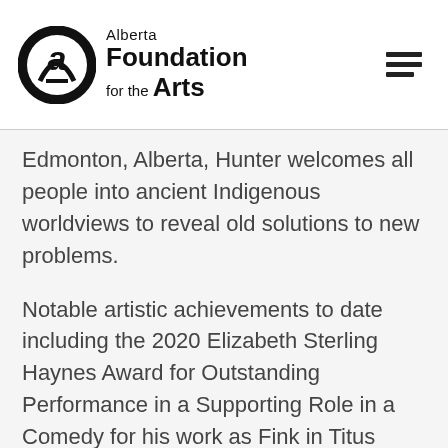Alberta Foundation for the Arts
Edmonton, Alberta, Hunter welcomes all people into ancient Indigenous worldviews to reveal old solutions to new problems.
Notable artistic achievements to date including the 2020 Elizabeth Sterling Haynes Award for Outstanding Performance in a Supporting Role in a Comedy for his work as Fink in Titus Bouffonious and the 2019 Elizabeth